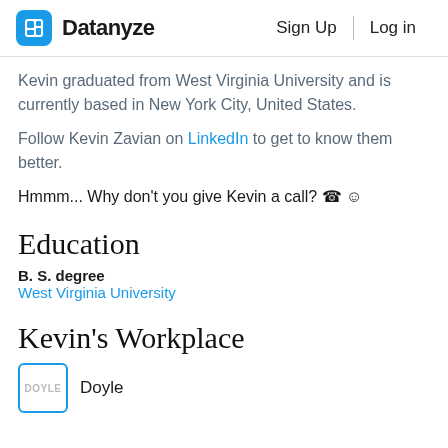Datanyze | Sign Up | Log in
Kevin graduated from West Virginia University and is currently based in New York City, United States.
Follow Kevin Zavian on LinkedIn to get to know them better.
Hmmm... Why don't you give Kevin a call? ☎☺
Education
B. S. degree
West Virginia University
Kevin's Workplace
Doyle